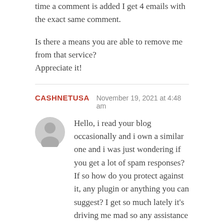time a comment is added I get 4 emails with the exact same comment.
Is there a means you are able to remove me from that service?
Appreciate it!
CASHNETUSA  November 19, 2021 at 4:48 am
Hello, i read your blog occasionally and i own a similar one and i was just wondering if you get a lot of spam responses?
If so how do you protect against it, any plugin or anything you can suggest? I get so much lately it's driving me mad so any assistance is very much appreciated.